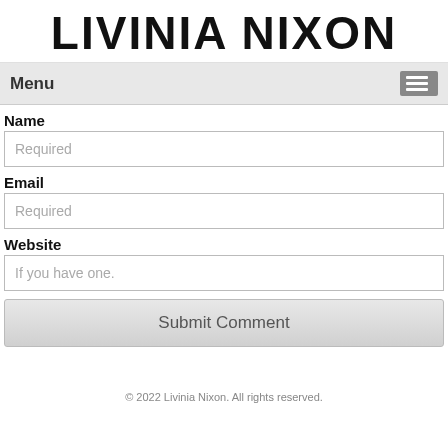LIVINIA NIXON
Menu
Name
Required
Email
Required
Website
If you have one.
Submit Comment
© 2022 Livinia Nixon. All rights reserved.